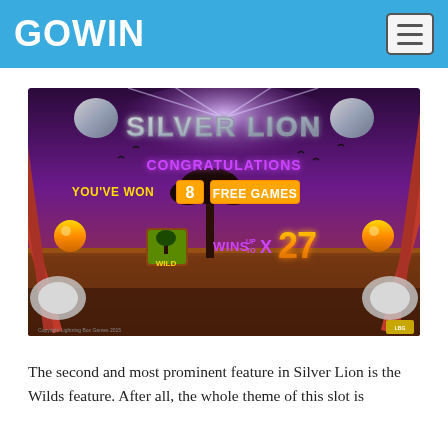GOWIN
[Figure (screenshot): Silver Lion slot game screenshot showing a bonus screen with purple/dark red African savanna background. Text reads: SILVER LION, CONGRATULATIONS, YOU'VE WON 8 FREE GAMES, WILD WINS UP TO X27]
The second and most prominent feature in Silver Lion is the Wilds feature. After all, the whole theme of this slot is